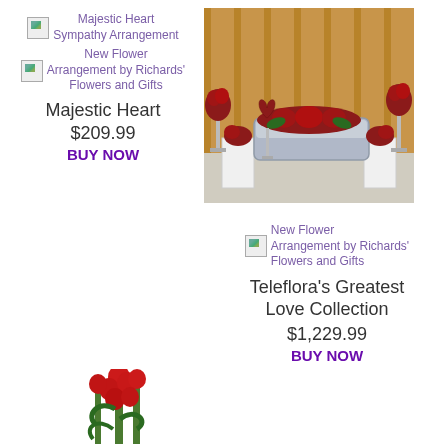[Figure (other): Broken image thumbnail for Majestic Heart Sympathy Arrangement]
Majestic Heart Sympathy Arrangement
[Figure (other): Broken image thumbnail for New Flower Arrangement by Richards' Flowers and Gifts]
New Flower Arrangement by Richards' Flowers and Gifts
Majestic Heart
$209.99
BUY NOW
[Figure (photo): Photo of a funeral arrangement display with red flowers covering a silver casket, red heart wreath, floral stands, and a wood-paneled room background]
[Figure (other): Broken image thumbnail for New Flower Arrangement by Richards' Flowers and Gifts (Teleflora)]
New Flower Arrangement by Richards' Flowers and Gifts
Teleflora's Greatest Love Collection
$1,229.99
BUY NOW
[Figure (photo): Partial photo of red gladiolus flower arrangement visible at bottom of page]